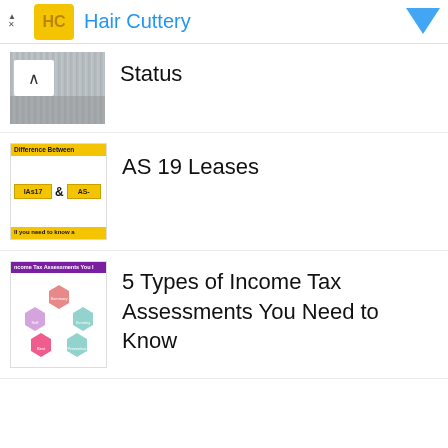[Figure (screenshot): Hair Cuttery advertisement banner with logo, title in blue, and close/arrow controls]
Status
AS 19 Leases
5 Types of Income Tax Assessments You Need to Know